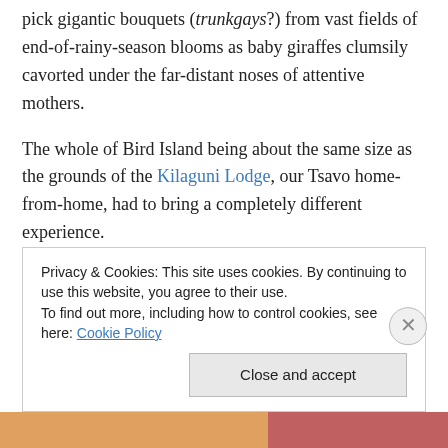pick gigantic bouquets (trunkgays?) from vast fields of end-of-rainy-season blooms as baby giraffes clumsily cavorted under the far-distant noses of attentive mothers.
The whole of Bird Island being about the same size as the grounds of the Kilaguni Lodge, our Tsavo home-from-home, had to bring a completely different experience.
The ten-year-old in our midst was instantly taken with the tag-team of common noddies that found his family's chalet the perfect perching point, so didn't seem to miss at all the much larger mammalian fauna of home.
Privacy & Cookies: This site uses cookies. By continuing to use this website, you agree to their use.
To find out more, including how to control cookies, see here: Cookie Policy
Close and accept